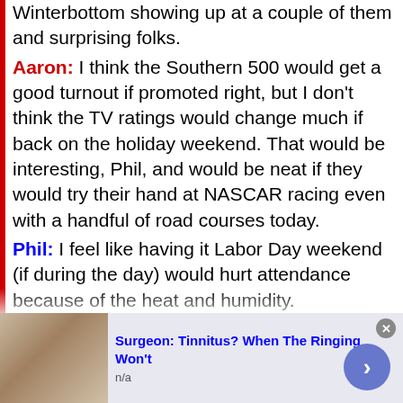Winterbottom showing up at a couple of them and surprising folks.
Aaron: I think the Southern 500 would get a good turnout if promoted right, but I don't think the TV ratings would change much if back on the holiday weekend. That would be interesting, Phil, and would be neat if they would try their hand at NASCAR racing even with a handful of road courses today.
Phil: I feel like having it Labor Day weekend (if during the day) would hurt attendance because of the heat and humidity.
Amy: A date alone won't improve TV ratings for any race, Aaron.  The broadcast itself would have to drastically improve.
[Figure (photo): Advertisement banner at the bottom: person's face photo on the left, text 'Surgeon: Tinnitus? When The Ringing Won't' in blue bold, 'n/a' in gray, close button (x), and a blue circular arrow button on the right.]